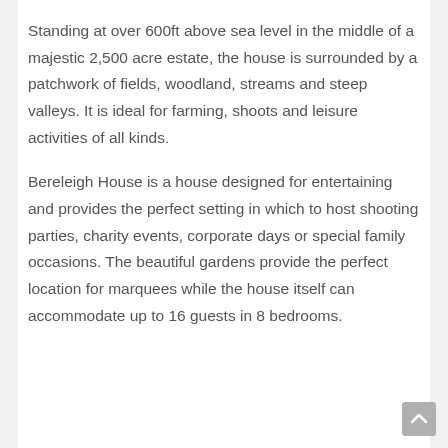Standing at over 600ft above sea level in the middle of a majestic 2,500 acre estate, the house is surrounded by a patchwork of fields, woodland, streams and steep valleys. It is ideal for farming, shoots and leisure activities of all kinds.
Bereleigh House is a house designed for entertaining and provides the perfect setting in which to host shooting parties, charity events, corporate days or special family occasions. The beautiful gardens provide the perfect location for marquees while the house itself can accommodate up to 16 guests in 8 bedrooms.